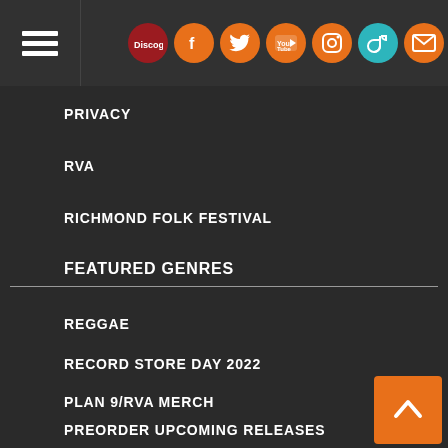Navigation header with hamburger menu and social icons: Discogs, Facebook, Twitter, YouTube, Instagram, TikTok, Email
PRIVACY
RVA
RICHMOND FOLK FESTIVAL
FEATURED GENRES
REGGAE
RECORD STORE DAY 2022
PLAN 9/RVA MERCH
PREORDER UPCOMING RELEASES
INDIE EXCLUSIVE RELEASES